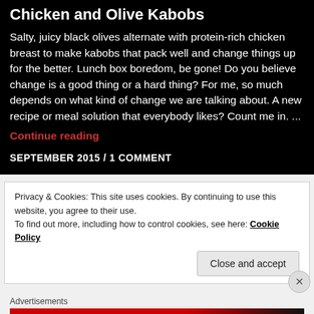Chicken and Olive Kabobs
Salty, juicy black olives alternate with protein-rich chicken breast to make kabobs that pack well and change things up for the better.  Lunch box boredom, be gone! Do you believe change is a good thing or a hard thing?  For me, so much depends on what kind of change we are talking about.  A new recipe or meal solution that everybody likes?  Count me in. ...
Continue reading
SEPTEMBER 2015  /  1 COMMENT
Privacy & Cookies: This site uses cookies. By continuing to use this website, you agree to their use.
To find out more, including how to control cookies, see here: Cookie Policy
Close and accept
Advertisements